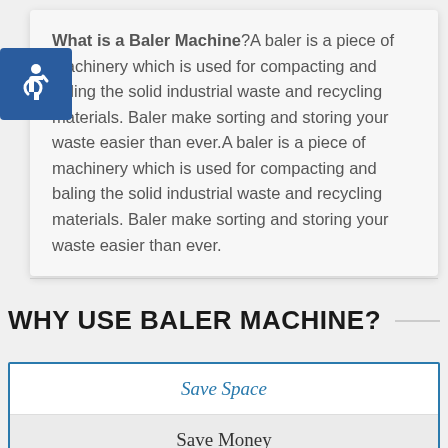What is a Baler Machine? A baler is a piece of machinery which is used for compacting and baling the solid industrial waste and recycling materials. Baler make sorting and storing your waste easier than ever.A baler is a piece of machinery which is used for compacting and baling the solid industrial waste and recycling materials. Baler make sorting and storing your waste easier than ever.
WHY USE BALER MACHINE?
Save Space
Save Money